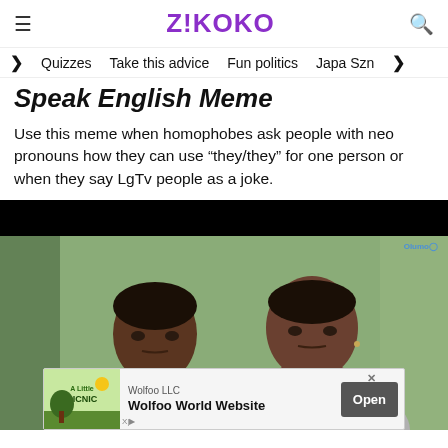ZIKOKO
Quizzes   Take this advice   Fun politics   Japa Szn
Speak English Meme
Use this meme when homophobes ask people with neo pronouns how they can use “they/they” for one person or when they say LgTv people as a joke.
[Figure (photo): Screenshot from a Nollywood video showing two women in school uniforms (grey and maroon) seated side by side against a green wall. An Olumo watermark appears top-right. An advertisement banner at the bottom shows Wolfoo LLC Wolfoo World Website with an Open button.]